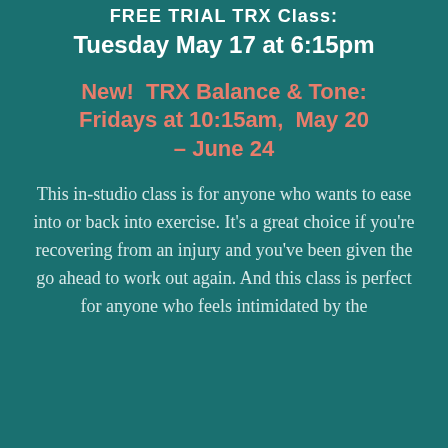FREE TRIAL TRX Class: Tuesday May 17 at 6:15pm
New!  TRX Balance & Tone: Fridays at 10:15am,  May 20 – June 24
This in-studio class is for anyone who wants to ease into or back into exercise. It's a great choice if you're recovering from an injury and you've been given the go ahead to work out again. And this class is perfect for anyone who feels intimidated by the